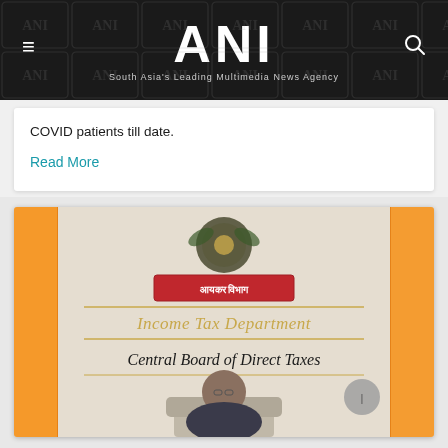ANI — South Asia's Leading Multimedia News Agency
COVID patients till date.
Read More
[Figure (photo): Income Tax Department – Central Board of Direct Taxes signboard with emblem and a person seated below, flanked by Indian flags (saffron)]